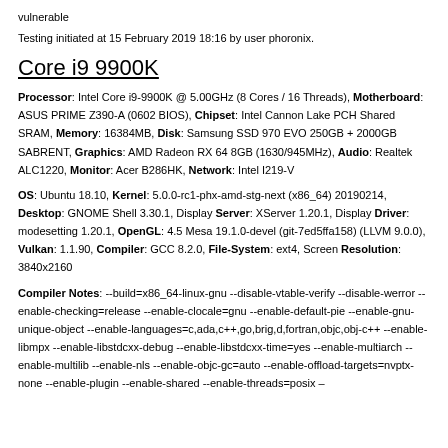vulnerable
Testing initiated at 15 February 2019 18:16 by user phoronix.
Core i9 9900K
Processor: Intel Core i9-9900K @ 5.00GHz (8 Cores / 16 Threads), Motherboard: ASUS PRIME Z390-A (0602 BIOS), Chipset: Intel Cannon Lake PCH Shared SRAM, Memory: 16384MB, Disk: Samsung SSD 970 EVO 250GB + 2000GB SABRENT, Graphics: AMD Radeon RX 64 8GB (1630/945MHz), Audio: Realtek ALC1220, Monitor: Acer B286HK, Network: Intel I219-V
OS: Ubuntu 18.10, Kernel: 5.0.0-rc1-phx-amd-stg-next (x86_64) 20190214, Desktop: GNOME Shell 3.30.1, Display Server: XServer 1.20.1, Display Driver: modesetting 1.20.1, OpenGL: 4.5 Mesa 19.1.0-devel (git-7ed5ffa158) (LLVM 9.0.0), Vulkan: 1.1.90, Compiler: GCC 8.2.0, File-System: ext4, Screen Resolution: 3840x2160
Compiler Notes: --build=x86_64-linux-gnu --disable-vtable-verify --disable-werror --enable-checking=release --enable-clocale=gnu --enable-default-pie --enable-gnu-unique-object --enable-languages=c,ada,c++,go,brig,d,fortran,objc,obj-c++ --enable-libmpx --enable-libstdcxx-debug --enable-libstdcxx-time=yes --enable-multiarch --enable-multilib --enable-nls --enable-objc-gc=auto --enable-offload-targets=nvptx-none --enable-plugin --enable-shared --enable-threads=posix –